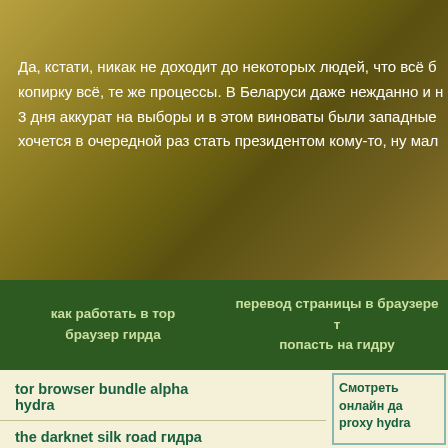Да, кстати, никак не доходит до некоторых людей, что всё б копирку всё, те же процессы. В Беларуси даже нежданно и н 3 дня аккурат на выборы и в этом виноваты были западные хочется в очередной раз стать президентом кому-то, ну мал
как работать в тор браузер гирда
перевод страницы в браузере т попасть на гидру
tor browser bundle alpha hydra
the darknet silk road гидра
Смотреть онлайн да proxy hydra